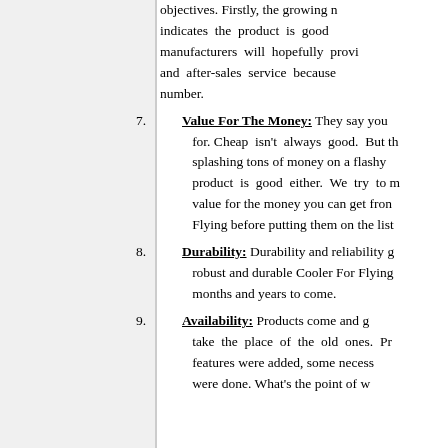objectives. Firstly, the growing number indicates the product is good, manufacturers will hopefully provide and after-sales service because number.
7. Value For The Money: They say you get what you pay for. Cheap isn't always good. But then again, splashing tons of money on a flashy product is good either. We try to measure the value for the money you can get from Cooler For Flying before putting them on the list.
8. Durability: Durability and reliability go hand in hand. A robust and durable Cooler For Flying will serve you for months and years to come.
9. Availability: Products come and go, new products take the place of the old ones. Perhaps some new features were added, some necessary modifications were done. What's the point of...